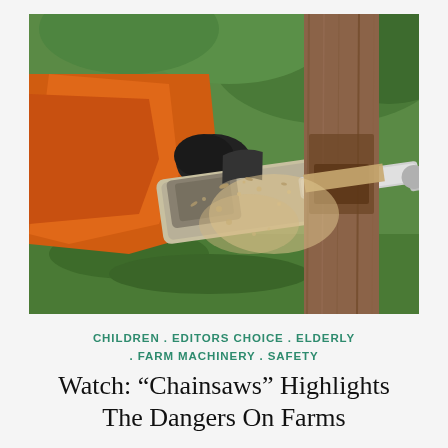[Figure (photo): A person in an orange jacket and black gloves using a chainsaw to cut through a wooden post or log. Sawdust is flying from the cut. The chainsaw bar is visible on the right side. Green hedge or shrubs visible in the background.]
CHILDREN . EDITORS CHOICE . ELDERLY . FARM MACHINERY . SAFETY
Watch: “Chainsaws” Highlights The Dangers On Farms